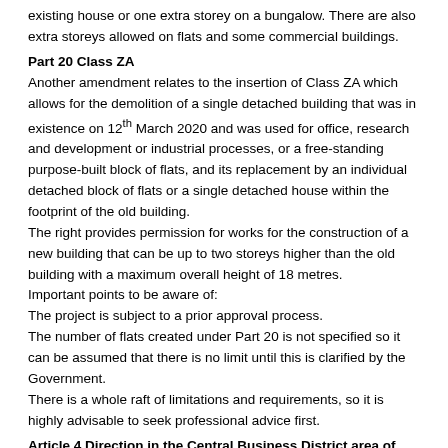existing house or one extra storey on a bungalow. There are also extra storeys allowed on flats and some commercial buildings.
Part 20 Class ZA
Another amendment relates to the insertion of Class ZA which allows for the demolition of a single detached building that was in existence on 12th March 2020 and was used for office, research and development or industrial processes, or a free-standing purpose-built block of flats, and its replacement by an individual detached block of flats or a single detached house within the footprint of the old building.
The right provides permission for works for the construction of a new building that can be up to two storeys higher than the old building with a maximum overall height of 18 metres.
Important points to be aware of:
The project is subject to a prior approval process.
The number of flats created under Part 20 is not specified so it can be assumed that there is no limit until this is clarified by the Government.
There is a whole raft of limitations and requirements, so it is highly advisable to seek professional advice first.
Article 4 Direction in the Central Business District area of Central Milton Keynes
Milton Keynes Council intends to introduce an 'Article 4 Direction' in the town centre to remove Permitted Development Rights for the change